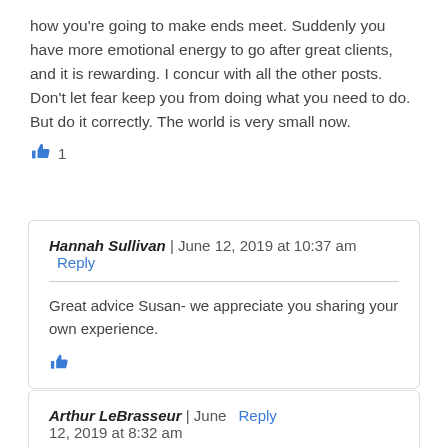how you’re going to make ends meet. Suddenly you have more emotional energy to go after great clients, and it is rewarding. I concur with all the other posts. Don’t let fear keep you from doing what you need to do. But do it correctly. The world is very small now.
👍 1
Hannah Sullivan | June 12, 2019 at 10:37 am  Reply
Great advice Susan- we appreciate you sharing your own experience.
Arthur LeBrasseur | June 12, 2019 at 8:32 am  Reply